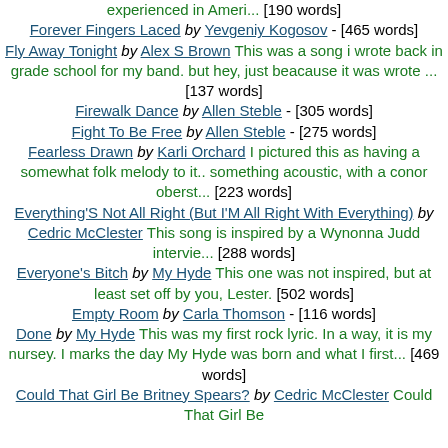experienced in Ameri... [190 words]
Forever Fingers Laced by Yevgeniy Kogosov - [465 words]
Fly Away Tonight by Alex S Brown This was a song i wrote back in grade school for my band. but hey, just beacause it was wrote ... [137 words]
Firewalk Dance by Allen Steble - [305 words]
Fight To Be Free by Allen Steble - [275 words]
Fearless Drawn by Karli Orchard I pictured this as having a somewhat folk melody to it.. something acoustic, with a conor oberst... [223 words]
Everything'S Not All Right (But I'M All Right With Everything) by Cedric McClester This song is inspired by a Wynonna Judd intervie... [288 words]
Everyone's Bitch by My Hyde This one was not inspired, but at least set off by you, Lester. [502 words]
Empty Room by Carla Thomson - [116 words]
Done by My Hyde This was my first rock lyric. In a way, it is my nursey. I marks the day My Hyde was born and what I first... [469 words]
Could That Girl Be Britney Spears? by Cedric McClester Could That Girl Be